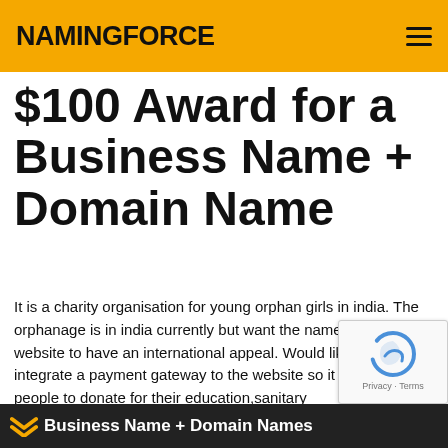NAMINGFORCE
$100 Award for a Business Name + Domain Name
It is a charity organisation for young orphan girls in india. The orphanage is in india currently but want the name and website to have an international appeal. Would like to integrate a payment gateway to the website so it easy for people to donate for their education,sanitary needs,food,clothing,mediaction and general wellbeing
Business Name + Domain Names